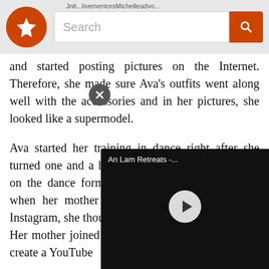Search
and started posting pictures on the Internet. Therefore, she made sure Ava's outfits went along well with the accessories and in her pictures, she looked like a supermodel.
Ava started her training in dance right after she turned one and a half years old. She then focused on the dance form, Jazz. And, since it all began when her mother started posting her photos on Instagram, she thought of taking it to the next level. Her mother joined hands with a few of her friends create a YouTube
They named their Moreover, they daughters' videos collection of many videos pertaining to dance,
[Figure (screenshot): Video player overlay showing 'An Lam Retreats -...' with a play button on a black background]